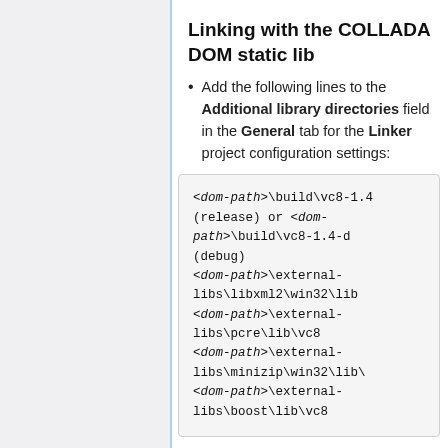Linking with the COLLADA DOM static lib
Add the following lines to the Additional library directories field in the General tab for the Linker project configuration settings:
<dom-path>\build\vc8-1.4 (release) or <dom-path>\build\vc8-1.4-d (debug) <dom-path>\external-libs\libxml2\win32\lib <dom-path>\external-libs\pcre\lib\vc8 <dom-path>\external-libs\minizip\win32\lib\ <dom-path>\external-libs\boost\lib\vc8
Add the following lines to the